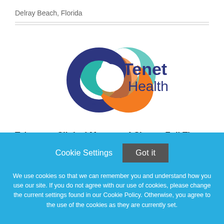Delray Beach, Florida
[Figure (logo): Tenet Health logo with three overlapping rings in blue, teal, and orange, and the text 'Tenet Health' in dark blue]
Telemetry Clinical Manager 4 Sinatra Full Time Nights 15K Sign-on Bonus
Cookie Settings  Got it

We use cookies so that we can remember you and understand how you use our site. If you do not agree with our use of cookies, please change the current settings found in our Cookie Policy. Otherwise, you agree to the use of the cookies as they are currently set.